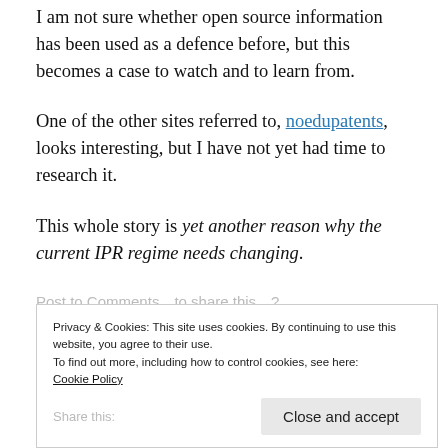I am not sure whether open source information has been used as a defence before, but this becomes a case to watch and to learn from.
One of the other sites referred to, noedupatents, looks interesting, but I have not yet had time to research it.
This whole story is yet another reason why the current IPR regime needs changing.
Privacy & Cookies: This site uses cookies. By continuing to use this website, you agree to their use.
To find out more, including how to control cookies, see here:
Cookie Policy